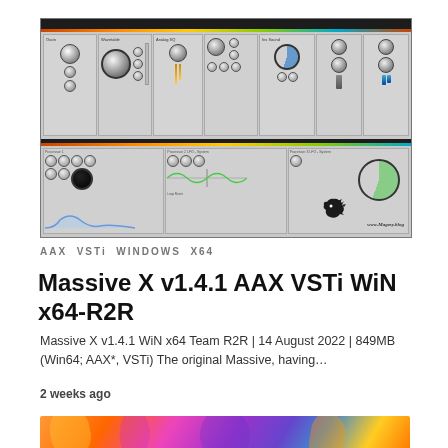[Figure (screenshot): Screenshot of Massive X synthesizer plugin interface showing multiple oscillators, filters, LFOs and envelope sections with knobs, sliders and waveform displays. Watermark www.Magesy.blog visible at bottom right.]
AAX  VSTi  WINDOWS  X64
Massive X v1.4.1 AAX VSTi WiN x64-R2R
Massive X v1.4.1 WiN x64 Team R2R | 14 August 2022 | 849MB (Win64; AAX*, VSTi) The original Massive, having…
2 weeks ago
[Figure (photo): Colorful abstract image with orange, purple, and multicolor geometric shapes partially visible at bottom of page.]